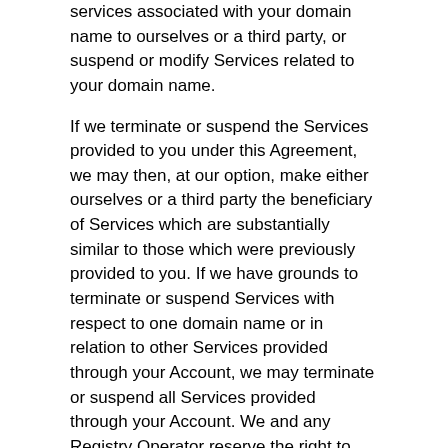services associated with your domain name to ourselves or a third party, or suspend or modify Services related to your domain name.
If we terminate or suspend the Services provided to you under this Agreement, we may then, at our option, make either ourselves or a third party the beneficiary of Services which are substantially similar to those which were previously provided to you. If we have grounds to terminate or suspend Services with respect to one domain name or in relation to other Services provided through your Account, we may terminate or suspend all Services provided through your Account. We and any Registry Operator reserve the right to deny, cancel, or transfer any domain name registration or transaction, or place any domain name(s) on lock, hold, or similar status, as we or the Registry Operator deem necessary, in either our or the Registry Operator's unlimited and sole discretion: (i) to protect the integrity and stability of the Registry Operator; (ii) to comply with any applicable registry policies and/or procedures or ICANN rules and regulations, including without limitation any consensus policies will be on and